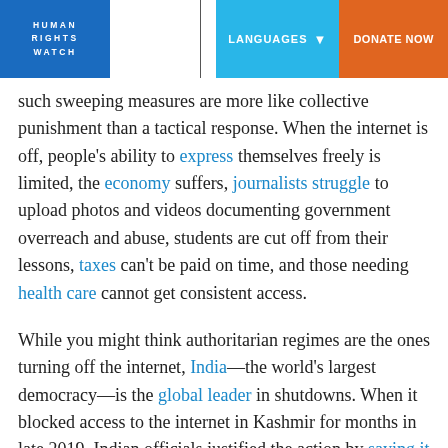HUMAN RIGHTS WATCH | LANGUAGES | DONATE NOW
such sweeping measures are more like collective punishment than a tactical response. When the internet is off, people's ability to express themselves freely is limited, the economy suffers, journalists struggle to upload photos and videos documenting government overreach and abuse, students are cut off from their lessons, taxes can't be paid on time, and those needing health care cannot get consistent access.
While you might think authoritarian regimes are the ones turning off the internet, India—the world's largest democracy—is the global leader in shutdowns. When it blocked access to the internet in Kashmir for months in late 2019, Indian officials justified the action by saying it was necessary to temporarily limit access to the internet during periods of crisis to avoid